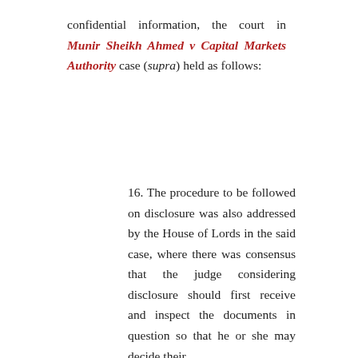confidential information, the court in Munir Sheikh Ahmed v Capital Markets Authority case (supra) held as follows:
16. The procedure to be followed on disclosure was also addressed by the House of Lords in the said case, where there was consensus that the judge considering disclosure should first receive and inspect the documents in question so that he or she may decide their